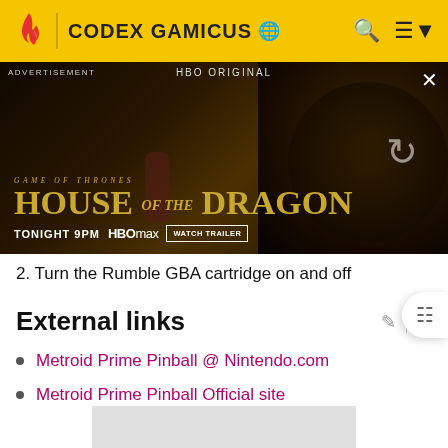CODEX GAMICUS
[Figure (photo): HBO Original advertisement for House of the Dragon (Game of Thrones) — Tonight 9PM on HBO Max, Watch Trailer button, with dragon imagery and a figure silhouette]
2. Turn the Rumble GBA cartridge on and off
External links
Metroid Prime Pinball @ Nintendo.com
Metroid Prime Pinball Official site